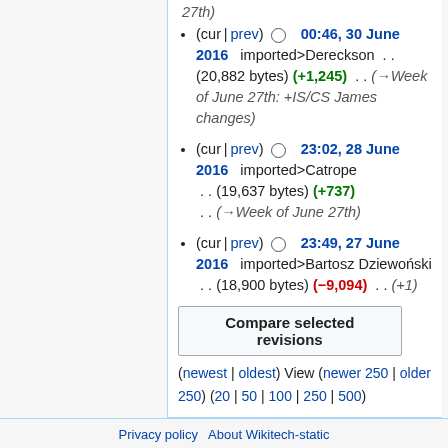27th)
(cur | prev) ○ 00:46, 30 June 2016 imported>Dereckson . . (20,882 bytes) (+1,245) . . (→Week of June 27th: +IS/CS James changes)
(cur | prev) ○ 23:02, 28 June 2016 imported>Catrope . . (19,637 bytes) (+737) . . (→Week of June 27th)
(cur | prev) ○ 23:49, 27 June 2016 imported>Bartosz Dziewoński . . (18,900 bytes) (−9,094) . . (+1)
Compare selected revisions
(newest | oldest) View (newer 250 | older 250) (20 | 50 | 100 | 250 | 500)
Privacy policy   About Wikitech-static